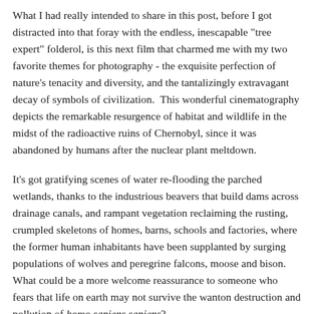What I had really intended to share in this post, before I got distracted into that foray with the endless, inescapable "tree expert" folderol, is this next film that charmed me with my two favorite themes for photography - the exquisite perfection of nature's tenacity and diversity, and the tantalizingly extravagant decay of symbols of civilization.  This wonderful cinematography depicts the remarkable resurgence of habitat and wildlife in the midst of the radioactive ruins of Chernobyl, since it was abandoned by humans after the nuclear plant meltdown.
It's got gratifying scenes of water re-flooding the parched wetlands, thanks to the industrious beavers that build dams across drainage canals, and rampant vegetation reclaiming the rusting, crumpled skeletons of homes, barns, schools and factories, where the former human inhabitants have been supplanted by surging populations of wolves and peregrine falcons, moose and bison.  What could be a more welcome reassurance to someone who fears that life on earth may not survive the wanton destruction and pollution of homo sapiens sapiens?
I'm not certain, but a disclaimer says it is only available to view in the US.  Anyone in another country who really wants to see it can